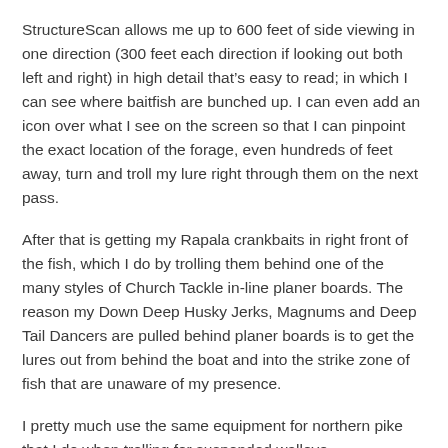StructureScan allows me up to 600 feet of side viewing in one direction (300 feet each direction if looking out both left and right) in high detail that's easy to read; in which I can see where baitfish are bunched up. I can even add an icon over what I see on the screen so that I can pinpoint the exact location of the forage, even hundreds of feet away, turn and troll my lure right through them on the next pass.
After that is getting my Rapala crankbaits in right front of the fish, which I do by trolling them behind one of the many styles of Church Tackle in-line planer boards. The reason my Down Deep Husky Jerks, Magnums and Deep Tail Dancers are pulled behind planer boards is to get the lures out from behind the boat and into the strike zone of fish that are unaware of my presence.
I pretty much use the same equipment for northern pike that I do when trolling for suspended walleye...